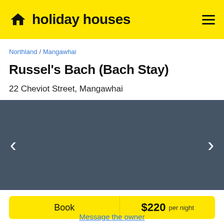holiday houses
Northland / Mangawhai
Russel's Bach (Bach Stay)
22 Cheviot Street, Mangawhai
[Figure (photo): Dark slate-coloured placeholder image area for property photo with left and right navigation arrows]
Book $220 per night
Message the owner